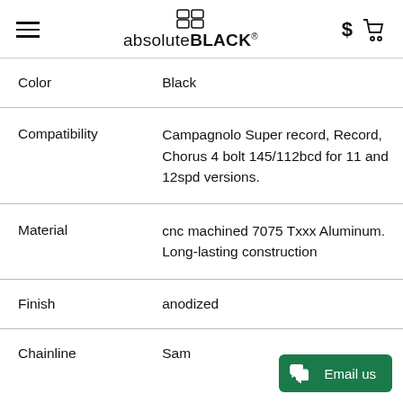absoluteBLACK
| Property | Value |
| --- | --- |
| Color | Black |
| Compatibility | Campagnolo Super record, Record, Chorus 4 bolt 145/112bcd for 11 and 12spd versions. |
| Material | cnc machined 7075 Txxx Aluminum. Long-lasting construction |
| Finish | anodized |
| Chainline | Sam... |